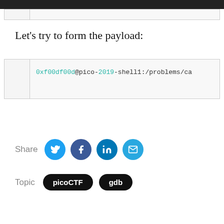Let's try to form the payload:
0xf00df00d@pico-2019-shell1:/problems/ca
Share
Topic
picoCTF
gdb